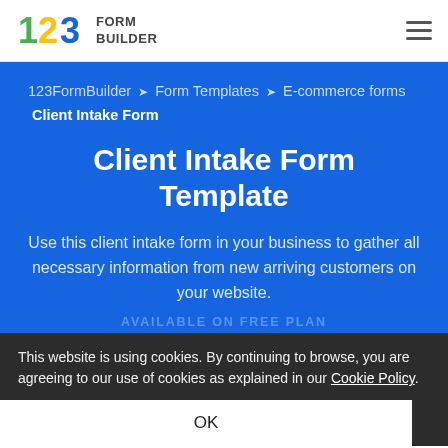[Figure (logo): 123 Form Builder logo with colorful numerals and bold text FORM BUILDER]
123FormBuilder navigation header with hamburger menu
123FormBuilder › Form Templates › E-commerce forms Client Intake Form
Client Intake Form Template
Use this client intake form in your business to gather all necessary information from new arriving customers on your website.
AVAILABLE ON FREE PLAN
This website is using cookies. By continuing to browse, you are agreeing to our use of cookies as explained in our Cookie Policy.
OK